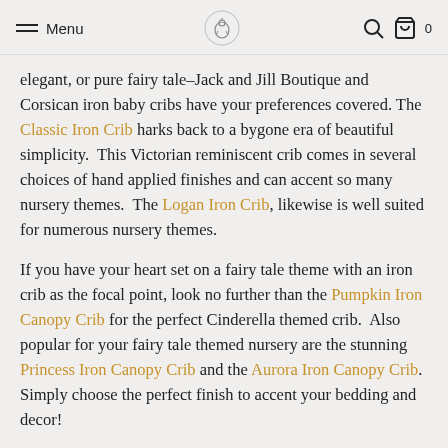Menu [logo] [search icon] [bag icon] 0
elegant, or pure fairy tale–Jack and Jill Boutique and Corsican iron baby cribs have your preferences covered. The Classic Iron Crib harks back to a bygone era of beautiful simplicity.  This Victorian reminiscent crib comes in several choices of hand applied finishes and can accent so many nursery themes.  The Logan Iron Crib, likewise is well suited for numerous nursery themes.
If you have your heart set on a fairy tale theme with an iron crib as the focal point, look no further than the Pumpkin Iron Canopy Crib for the perfect Cinderella themed crib.  Also popular for your fairy tale themed nursery are the stunning Princess Iron Canopy Crib and the Aurora Iron Canopy Crib.  Simply choose the perfect finish to accent your bedding and decor!